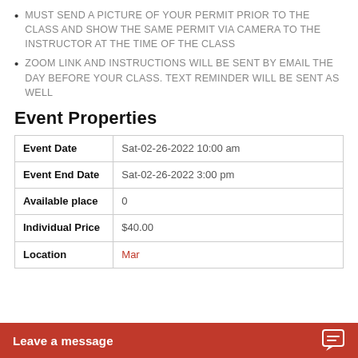MUST SEND A PICTURE OF YOUR PERMIT PRIOR TO THE CLASS AND SHOW THE SAME PERMIT VIA CAMERA TO THE INSTRUCTOR AT THE TIME OF THE CLASS
ZOOM LINK AND INSTRUCTIONS WILL BE SENT BY EMAIL THE DAY BEFORE YOUR CLASS. TEXT REMINDER WILL BE SENT AS WELL
Event Properties
|  |  |
| --- | --- |
| Event Date | Sat-02-26-2022 10:00 am |
| Event End Date | Sat-02-26-2022 3:00 pm |
| Available place | 0 |
| Individual Price | $40.00 |
| Location | Mar... |